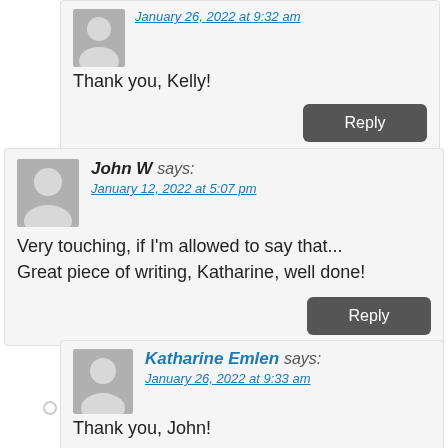January 26, 2022 at 9:32 am
Thank you, Kelly!
John W says:
January 12, 2022 at 5:07 pm
Very touching, if I'm allowed to say that... Great piece of writing, Katharine, well done!
Katharine Emlen says:
January 26, 2022 at 9:33 am
Thank you, John!